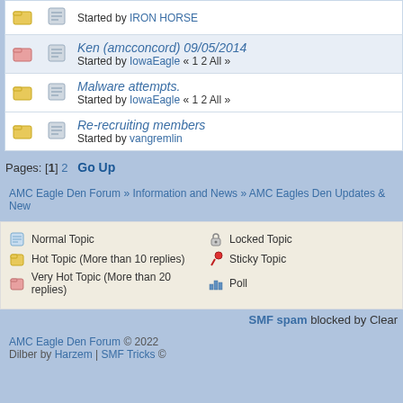Started by IRON HORSE
Ken (amcconcord) 09/05/2014 - Started by IowaEagle « 1 2 All »
Malware attempts. - Started by IowaEagle « 1 2 All »
Re-recruiting members - Started by vangremlin
Pages: [1] 2  Go Up
AMC Eagle Den Forum » Information and News » AMC Eagles Den Updates & New
Normal Topic | Hot Topic (More than 10 replies) | Very Hot Topic (More than 20 replies) | Locked Topic | Sticky Topic | Poll
SMF spam blocked by Clear
AMC Eagle Den Forum © 2022
Dilber by Harzem | SMF Tricks ©